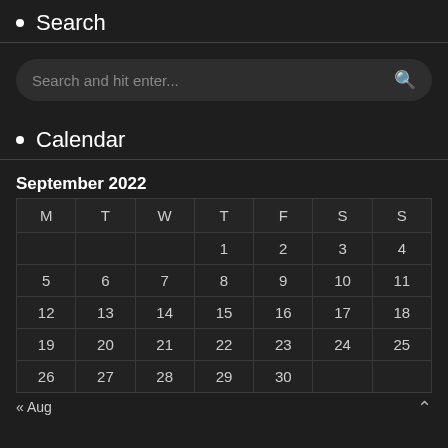Search
Search and hit enter...
Calendar
September 2022
| M | T | W | T | F | S | S |
| --- | --- | --- | --- | --- | --- | --- |
|  |  |  | 1 | 2 | 3 | 4 |
| 5 | 6 | 7 | 8 | 9 | 10 | 11 |
| 12 | 13 | 14 | 15 | 16 | 17 | 18 |
| 19 | 20 | 21 | 22 | 23 | 24 | 25 |
| 26 | 27 | 28 | 29 | 30 |  |  |
« Aug